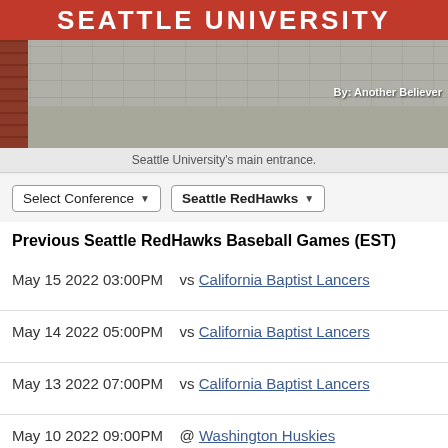[Figure (photo): Seattle University main entrance sign on red background with stone wall and brick column]
Seattle University's main entrance.
Select Conference ▾   Seattle RedHawks ▾
Previous Seattle RedHawks Baseball Games (EST)
May 15 2022 03:00PM   vs California Baptist Lancers
May 14 2022 05:00PM   vs California Baptist Lancers
May 13 2022 07:00PM   vs California Baptist Lancers
May 10 2022 09:00PM   @ Washington Huskies
Watch Replay